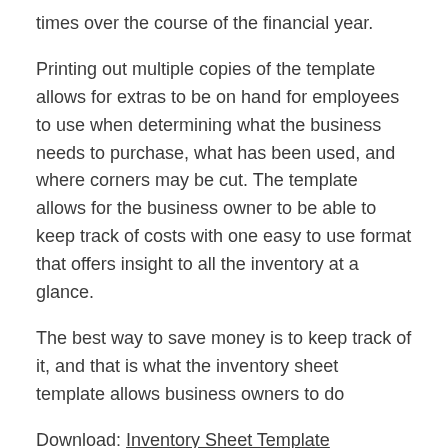times over the course of the financial year.
Printing out multiple copies of the template allows for extras to be on hand for employees to use when determining what the business needs to purchase, what has been used, and where corners may be cut. The template allows for the business owner to be able to keep track of costs with one easy to use format that offers insight to all the inventory at a glance.
The best way to save money is to keep track of it, and that is what the inventory sheet template allows business owners to do
Download: Inventory Sheet Template
Related Templates: